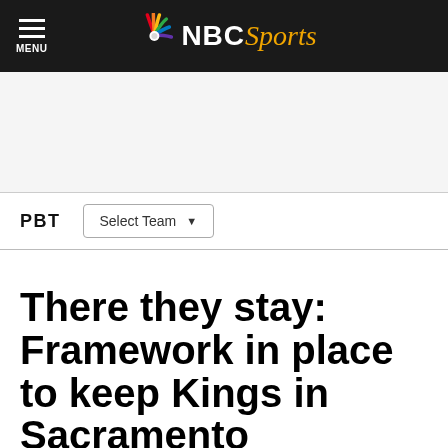NBC Sports — MENU
PBT   Select Team
There they stay: Framework in place to keep Kings in Sacramento
By Rob Mahoney   Feb 27, 2012, 1:55 PM EST